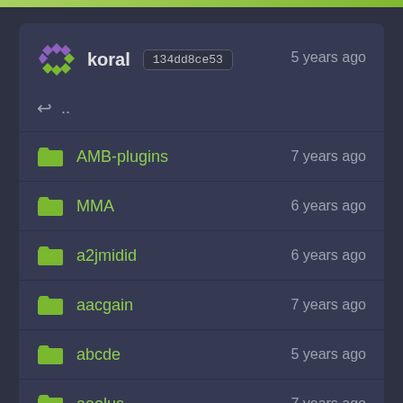[Figure (screenshot): Git repository browser showing folder listing for user 'koral', commit 134dd8ce53, with folders: AMB-plugins, MMA, a2jmidid, aacgain, abcde, aeolus, airwave]
koral  134dd8ce53  5 years ago
..
AMB-plugins  7 years ago
MMA  6 years ago
a2jmidid  6 years ago
aacgain  7 years ago
abcde  5 years ago
aeolus  7 years ago
airwave  6 years ago